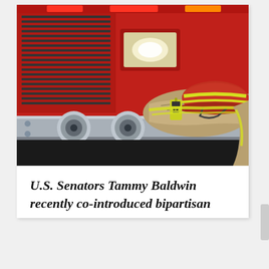[Figure (photo): Close-up photo of the front bumper of a red fire truck with chrome horns/lights. A firefighter's tan turnout gear and helmet with yellow hi-vis stripes are draped over the top of the bumper. A yellow radio/device is visible. Background shows the grille of the fire truck.]
U.S. Senators Tammy Baldwin recently co-introduced bipartisan